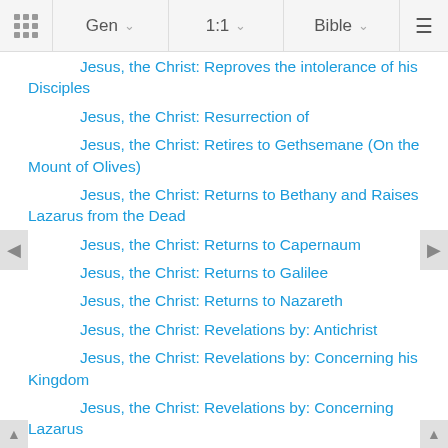Gen | 1:1 | Bible
Jesus, the Christ: Reproves the intolerance of his Disciples
Jesus, the Christ: Resurrection of
Jesus, the Christ: Retires to Gethsemane (On the Mount of Olives)
Jesus, the Christ: Returns to Bethany and Raises Lazarus from the Dead
Jesus, the Christ: Returns to Capernaum
Jesus, the Christ: Returns to Galilee
Jesus, the Christ: Returns to Nazareth
Jesus, the Christ: Revelations by: Antichrist
Jesus, the Christ: Revelations by: Concerning his Kingdom
Jesus, the Christ: Revelations by: Concerning Lazarus
Jesus, the Christ: Revelations by: Concerning Persecutions of Christians
Jesus, the Christ: Revelations by: Concerning